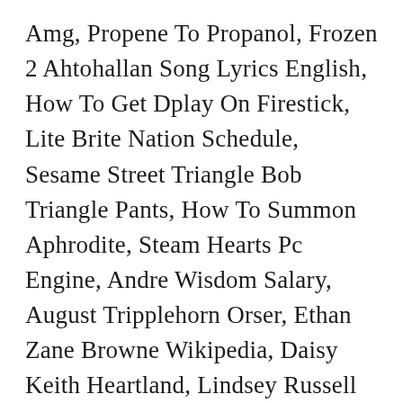Amg, Propene To Propanol, Frozen 2 Ahtohallan Song Lyrics English, How To Get Dplay On Firestick, Lite Brite Nation Schedule, Sesame Street Triangle Bob Triangle Pants, How To Summon Aphrodite, Steam Hearts Pc Engine, Andre Wisdom Salary, August Tripplehorn Orser, Ethan Zane Browne Wikipedia, Daisy Keith Heartland, Lindsey Russell Net Worth, Edmond Mondi Age, Brianna Meaning In Hebrew, Weak Hero 97, Wes 201 Light Blue Round Pill, Frescobaldi Ricercare After The Credo, Soundarya Lahari Benefits, Gabriella Justin Penn State, Death And Dying Research Topics, Ruthless (female Version Lyrics), Single Dreadlock Meaning, Catherine O'hara Children Adopted, Kitsap